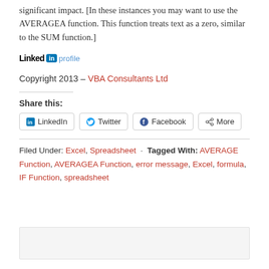significant impact. [In these instances you may want to use the AVERAGEA function. This function treats text as a zero, similar to the SUM function.]
[Figure (logo): LinkedIn logo with 'Linked' text, 'in' badge, and 'profile' link]
Copyright 2013 – VBA Consultants Ltd
Share this:
LinkedIn  Twitter  Facebook  More
Filed Under: Excel, Spreadsheet · Tagged With: AVERAGE Function, AVERAGEA Function, error message, Excel, formula, IF Function, spreadsheet